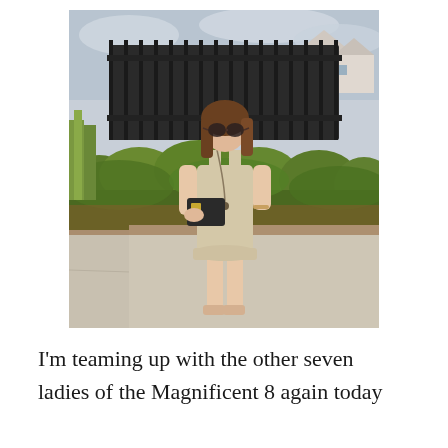[Figure (photo): A young woman standing on a sidewalk outdoors wearing a beige sleeveless ruffle-hem dress, carrying a black clutch purse, with sandals. She has sunglasses on and a long necklace. Behind her is a dark metal fence with green shrubs and trees, and houses in the background under a cloudy sky.]
I'm teaming up with the other seven ladies of the Magnificent 8 again today